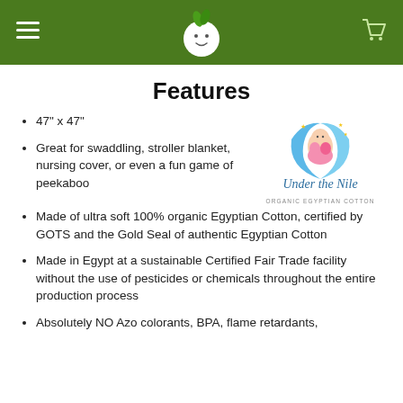Under the Nile — navigation header with logo, hamburger menu, and cart icon
Features
47" x 47"
[Figure (logo): Under the Nile brand logo: baby wrapped in crescent moon with stars, script text 'Under the Nile' and 'ORGANIC EGYPTIAN COTTON']
Great for swaddling, stroller blanket, nursing cover, or even a fun game of peekaboo
Made of ultra soft 100% organic Egyptian Cotton, certified by GOTS and the Gold Seal of authentic Egyptian Cotton
Made in Egypt at a sustainable Certified Fair Trade facility without the use of pesticides or chemicals throughout the entire production process
Absolutely NO Azo colorants, BPA, flame retardants,